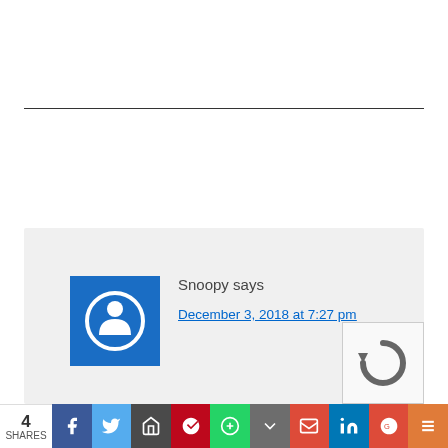Comments
Snoopy says
December 3, 2018 at 7:27 pm
I'd say these geo's have been smashed by the Google 2012 changes as a big chunk of the appeal was SEO. Seems a low price for this name and they are hardly "holding their own"